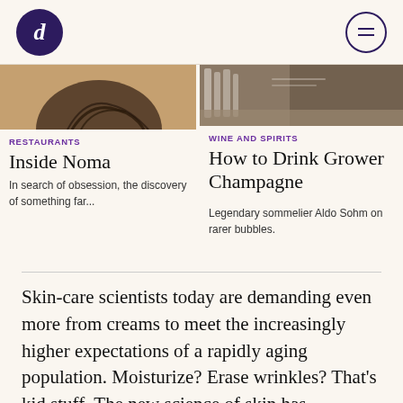Condé Nast header with logo and menu
[Figure (photo): Close-up photo of hair against a warm brown surface]
RESTAURANTS
Inside Noma
In search of obsession, the discovery of something far...
[Figure (photo): Restaurant interior with wine glasses and table setting]
WINE AND SPIRITS
How to Drink Grower Champagne
Legendary sommelier Aldo Sohm on rarer bubbles.
Skin-care scientists today are demanding even more from creams to meet the increasingly higher expectations of a rapidly aging population. Moisturize? Erase wrinkles? That's kid stuff. The new science of skin has...